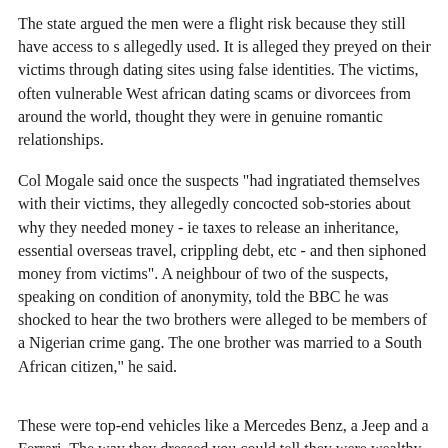The state argued the men were a flight risk because they still have access to s allegedly used. It is alleged they preyed on their victims through dating sites using false identities. The victims, often vulnerable West african dating scams or divorcees from around the world, thought they were in genuine romantic relationships.
Col Mogale said once the suspects "had ingratiated themselves with their victims, they allegedly concocted sob-stories about why they needed money - ie taxes to release an inheritance, essential overseas travel, crippling debt, etc - and then siphoned money from victims". A neighbour of two of the suspects, speaking on condition of anonymity, told the BBC he was shocked to hear the two brothers were alleged to be members of a Nigerian crime gang. The one brother was married to a South African citizen," he said.
These were top-end vehicles like a Mercedes Benz, a Jeep and a Ferrari. The way they dressed you could tell they were wealthy. The neighbour was woken up by the sound of dogs barking when the brothers' homes were raided on Tuesday. About 60 men from various police units spent about six hours collecting evidence at the properties. Seven other properties were also raided in the same neighbourhood.